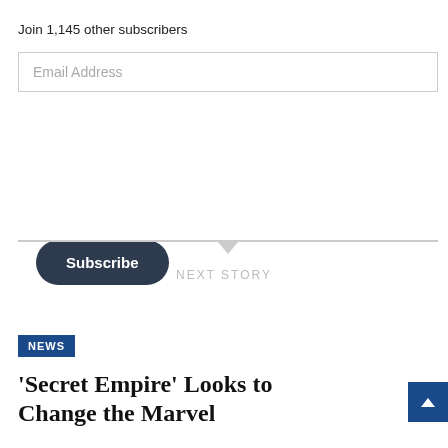Join 1,145 other subscribers
Email Address
Subscribe
NEXT STORY
NEWS
'Secret Empire' Looks to Change the Marvel